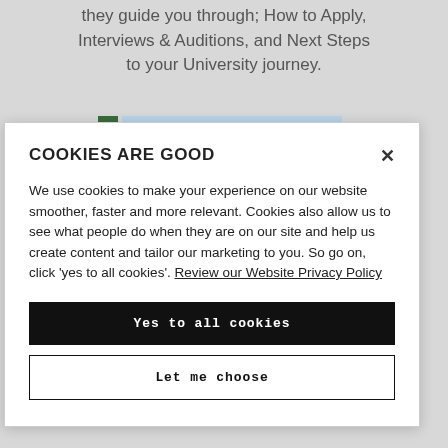they guide you through; How to Apply, Interviews & Auditions, and Next Steps to your University journey.
[Figure (screenshot): Partial background image showing green foliage and blue sky strip]
COOKIES ARE GOOD
We use cookies to make your experience on our website smoother, faster and more relevant. Cookies also allow us to see what people do when they are on our site and help us create content and tailor our marketing to you. So go on, click 'yes to all cookies'. Review our Website Privacy Policy
Yes to all cookies
Let me choose